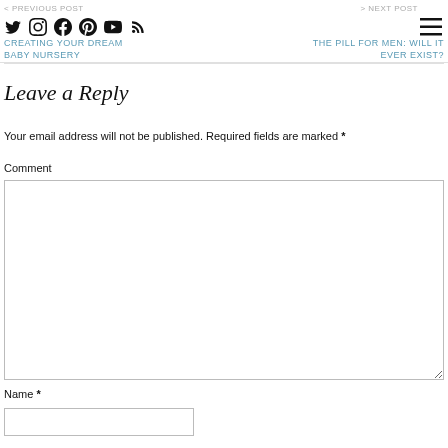< PREVIOUS POST  CREATING YOUR DREAM BABY NURSERY  |  > NEXT POST THE PILL FOR MEN: WILL IT EVER EXIST?
Leave a Reply
Your email address will not be published. Required fields are marked *
Comment
Name *